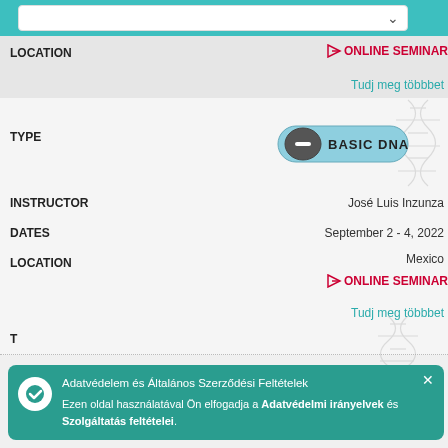[Figure (screenshot): Search/dropdown box at top with teal header bar]
LOCATION
ONLINE SEMINAR
Tudj meg többbet
TYPE
[Figure (logo): Basic DNA badge with DNA molecule decoration]
INSTRUCTOR
DATES
LOCATION
Mexico
ONLINE SEMINAR
Tudj meg többbet
T
Adatvédelem és Általános Szerződési Feltételek Ezen oldal használatával Ön elfogadja a Adatvédelmi irányelvek és Szolgáltatás feltételei.